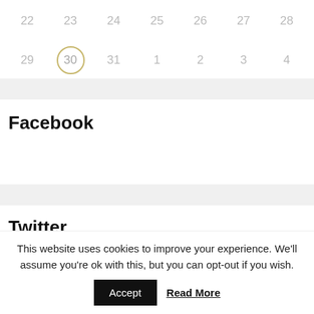22  23  24  25  26  27  28
29  30  31  1  2  3  4
Facebook
Twitter
This website uses cookies to improve your experience. We'll assume you're ok with this, but you can opt-out if you wish.